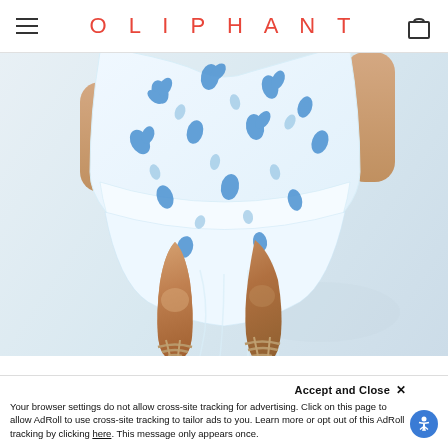OLIPHANT
[Figure (photo): A woman wearing a white and blue floral printed short dress, showing from the torso down to the feet wearing strappy golden sandals, against a light grey/white background.]
Accept and Close ×
Your browser settings do not allow cross-site tracking for advertising. Click on this page to allow AdRoll to use cross-site tracking to tailor ads to you. Learn more or opt out of this AdRoll tracking by clicking here. This message only appears once.